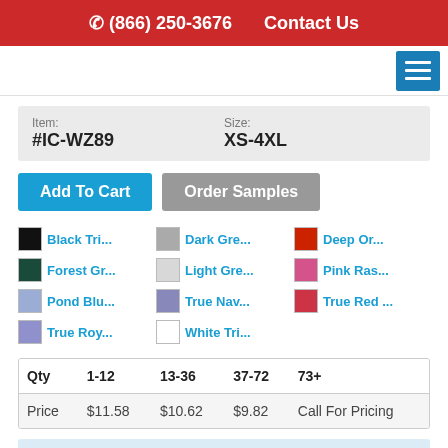(866) 250-3676   Contact Us
Item: #IC-WZ89   Size: XS-4XL
Add To Cart   Order Samples
Black Tri...
Forest Gr...
Pond Blu...
True Roy...
Dark Gre...
Light Gre...
True Nav...
White Tri...
Deep Or...
Pink Ras...
True Red ...
| Qty | 1-12 | 13-36 | 37-72 | 73+ |
| --- | --- | --- | --- | --- |
| Price | $11.58 | $10.62 | $9.82 | Call For Pricing |
The average prices are listed above. Please